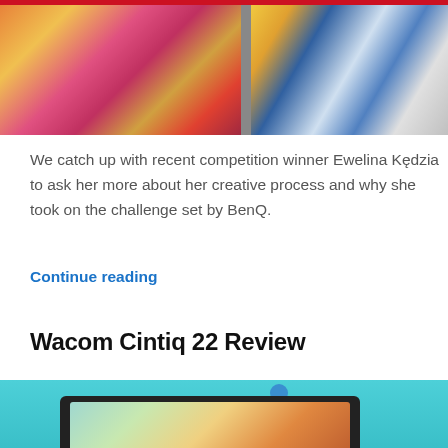[Figure (photo): Top photo showing colorful artwork displayed on a monitor, split into left and right panels with vibrant colors and artistic compositions]
We catch up with recent competition winner Ewelina Kędzia to ask her more about her creative process and why she took on the challenge set by BenQ.
Continue reading
Wacom Cintiq 22 Review
[Figure (photo): Photo of the Wacom Cintiq 22 tablet display showing colorful digital artwork on a teal/turquoise background]